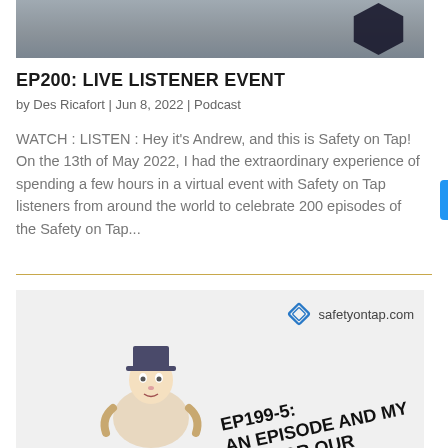[Figure (photo): Partial photo at top showing people and a dark geometric background element]
EP200: LIVE LISTENER EVENT
by Des Ricafort | Jun 8, 2022 | Podcast
WATCH : LISTEN : Hey it’s Andrew, and this is Safety on Tap! On the 13th of May 2022, I had the extraordinary experience of spending a few hours in a virtual event with Safety on Tap listeners from around the world to celebrate 200 episodes of the Safety on Tap…
[Figure (photo): Thumbnail image for EP199-5 episode with cartoon character and text overlay reading EP199-5: AN EPISODE AND MY YOU FOR OUR, with safetyontap.com logo]